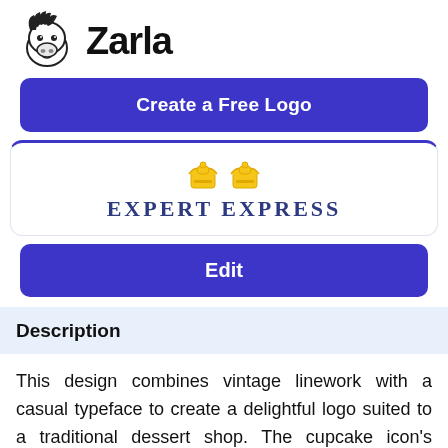[Figure (logo): Zarla logo: cartoon zebra head illustration next to bold text 'Zarla']
Create a Free Logo
[Figure (logo): Expert Express logo: two yellow cupcake icons above blue text 'EXPERT EXPRESS' in uppercase serif font]
Edit
Description
This design combines vintage linework with a casual typeface to create a delightful logo suited to a traditional dessert shop. The cupcake icon's stenciled outline in yellow is simple yet charming, while the blue Crushed typeface indicates a friendly, approachable